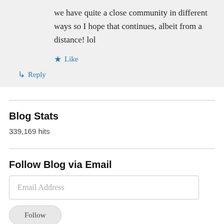we have quite a close community in different ways so I hope that continues, albeit from a distance! lol
★ Like
↳ Reply
Blog Stats
339,169 hits
Follow Blog via Email
Email Address
Follow